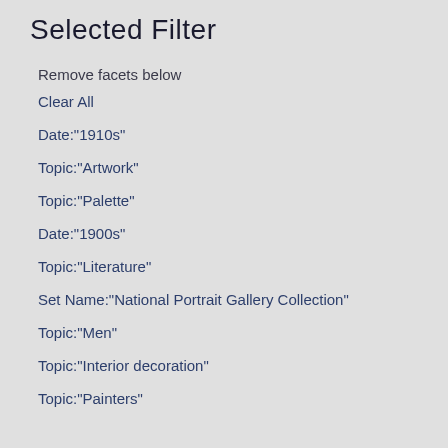Selected Filter
Remove facets below
Clear All
Date:"1910s"
Topic:"Artwork"
Topic:"Palette"
Date:"1900s"
Topic:"Literature"
Set Name:"National Portrait Gallery Collection"
Topic:"Men"
Topic:"Interior decoration"
Topic:"Painters"